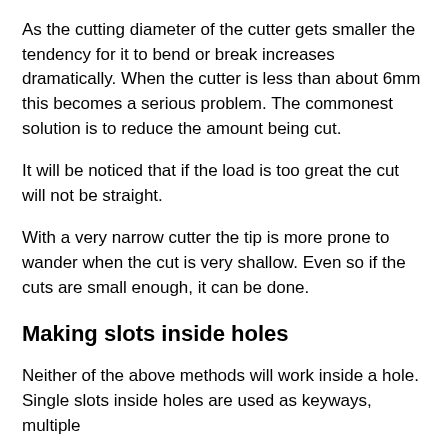As the cutting diameter of the cutter gets smaller the tendency for it to bend or break increases dramatically. When the cutter is less than about 6mm this becomes a serious problem. The commonest solution is to reduce the amount being cut.
It will be noticed that if the load is too great the cut will not be straight.
With a very narrow cutter the tip is more prone to wander when the cut is very shallow. Even so if the cuts are small enough, it can be done.
Making slots inside holes
Neither of the above methods will work inside a hole. Single slots inside holes are used as keyways, multiple